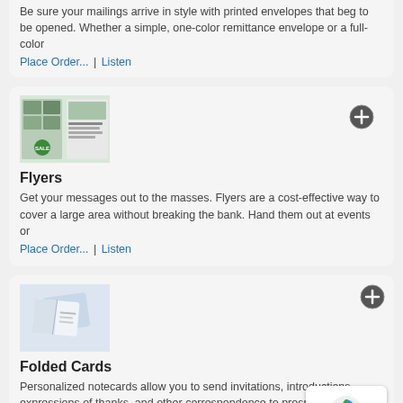Be sure your mailings arrive in style with printed envelopes that beg to be opened. Whether a simple, one-color remittance envelope or a full-color
Place Order... | Listen
[Figure (photo): Thumbnail image of flyers product]
Flyers
Get your messages out to the masses. Flyers are a cost-effective way to cover a large area without breaking the bank. Hand them out at events or
Place Order... | Listen
[Figure (photo): Thumbnail image of folded cards product]
Folded Cards
Personalized notecards allow you to send invitations, introductions, expressions of thanks, and other correspondence to prospects, peers, and
Place Order...